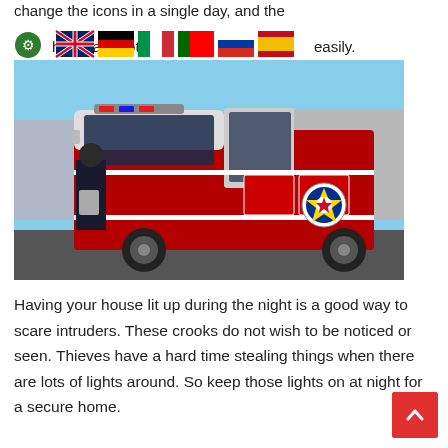change the icons in a single day, and the hardware not very easily.
[Figure (photo): A red fire truck with Austin Fire Department badge, doors open, firefighter visible on left side, photographed outdoors on a clear day.]
Having your house lit up during the night is a good way to scare intruders. These crooks do not wish to be noticed or seen. Thieves have a hard time stealing things when there are lots of lights around. So keep those lights on at night for a secure home.